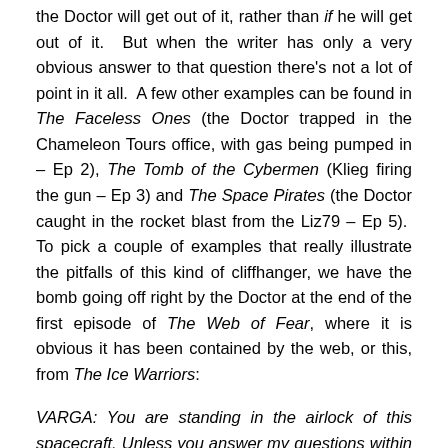the Doctor will get out of it, rather than if he will get out of it. But when the writer has only a very obvious answer to that question there's not a lot of point in it all. A few other examples can be found in The Faceless Ones (the Doctor trapped in the Chameleon Tours office, with gas being pumped in – Ep 2), The Tomb of the Cybermen (Klieg firing the gun – Ep 3) and The Space Pirates (the Doctor caught in the rocket blast from the Liz79 – Ep 5). To pick a couple of examples that really illustrate the pitfalls of this kind of cliffhanger, we have the bomb going off right by the Doctor at the end of the first episode of The Web of Fear, where it is obvious it has been contained by the web, or this, from The Ice Warriors:
VARGA: You are standing in the airlock of this spacecraft. Unless you answer my questions within ten seconds, I will take atmospheric pressure around you down to zero.